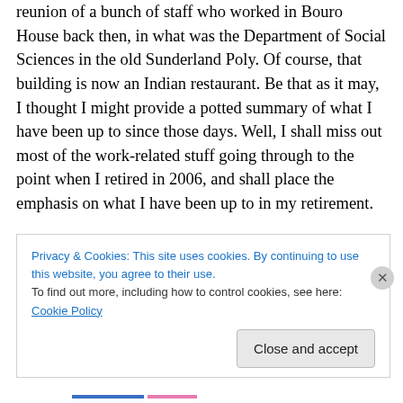reunion of a bunch of staff who worked in Bouro House back then, in what was the Department of Social Sciences in the old Sunderland Poly. Of course, that building is now an Indian restaurant. Be that as it may, I thought I might provide a potted summary of what I have been up to since those days. Well, I shall miss out most of the work-related stuff going through to the point when I retired in 2006, and shall place the emphasis on what I have been up to in my retirement.
The first thing I need to clarify is that, although approaching the big 70 next year, I have no grandchildren
Privacy & Cookies: This site uses cookies. By continuing to use this website, you agree to their use.
To find out more, including how to control cookies, see here: Cookie Policy